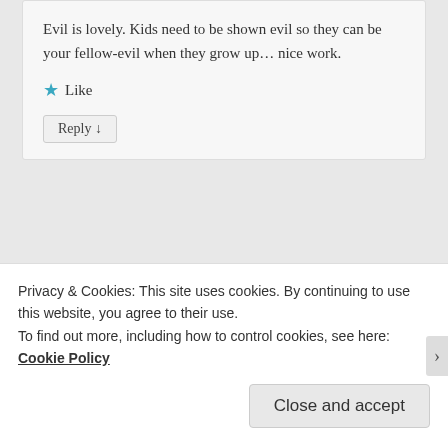Evil is lovely. Kids need to be shown evil so they can be your fellow-evil when they grow up... nice work.
★ Like
Reply ↓
Pingback: Apricot and Sunflower Sourdough « Cityhippyfarmgirl
[Figure (illustration): Pixelated blue and dark blue avatar icon with geometric block pattern]
Privacy & Cookies: This site uses cookies. By continuing to use this website, you agree to their use.
To find out more, including how to control cookies, see here: Cookie Policy
Close and accept